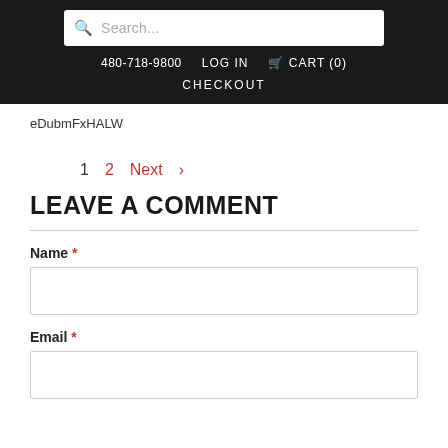Search... | 480-718-9800 | LOG IN | CART (0) | CHECKOUT
eDubmFxHALW
1  2  Next  >
LEAVE A COMMENT
Name *
Email *